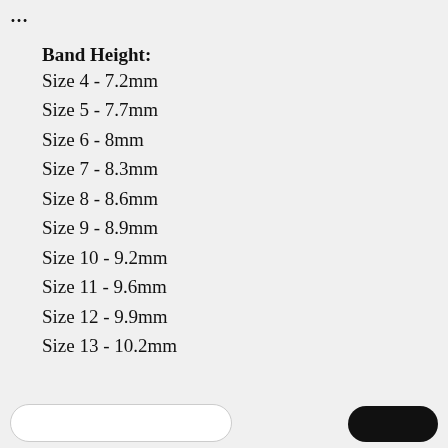…
Band Height:
Size 4 - 7.2mm
Size 5 - 7.7mm
Size 6 - 8mm
Size 7 - 8.3mm
Size 8 - 8.6mm
Size 9 - 8.9mm
Size 10 - 9.2mm
Size 11 - 9.6mm
Size 12 - 9.9mm
Size 13 - 10.2mm